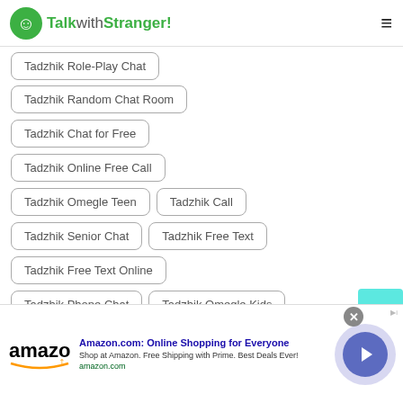TalkwithStranger!
Tadzhik Role-Play Chat
Tadzhik Random Chat Room
Tadzhik Chat for Free
Tadzhik Online Free Call
Tadzhik Omegle Teen
Tadzhik Call
Tadzhik Senior Chat
Tadzhik Free Text
Tadzhik Free Text Online
Tadzhik Phone Chat
Tadzhik Omegle Kids
Amazon.com: Online Shopping for Everyone
Shop at Amazon. Free Shipping with Prime. Best Deals Ever!
amazon.com